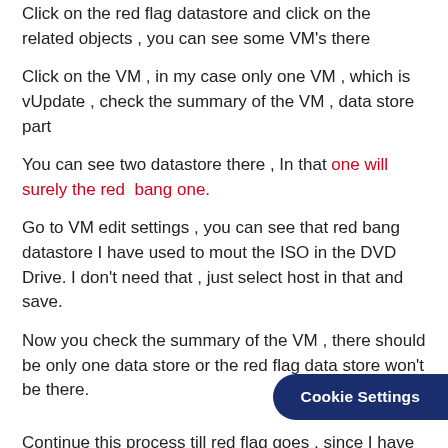Click on the red flag datastore and click on the related objects , you can see some VM's there
Click on the VM , in my case only one VM , which is vUpdate , check the summary of the VM , data store part
You can see two datastore there , In that one will surely the red bang one.
Go to VM edit settings , you can see that red bang datastore I have used to mout the ISO in the DVD Drive. I don't need that , just select host in that and save.
Now you check the summary of the VM , there should be only one data store or the red flag data store won't be there.
Continue this process till red flag goes , since I have only one VM , I just remove that that from VM edit settings and now that particular data store is not visible at all.
Cookie Settings